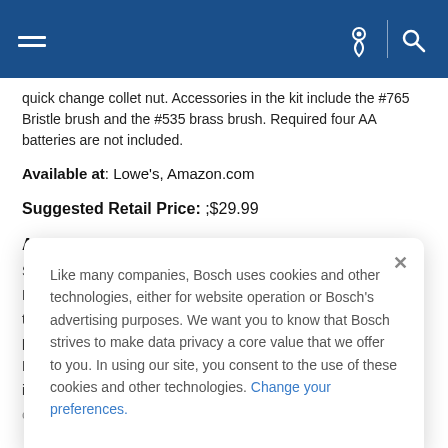Dremel website header with hamburger menu, location icon, and search icon
quick change collet nut. Accessories in the kit include the #765 Bristle brush and the #535 brass brush. Required four AA batteries are not included.
Available at: Lowe's, Amazon.com
Suggested Retail Price: ;$29.99
About Dremel
S
D
t
p
D
i
c
Like many companies, Bosch uses cookies and other technologies, either for website operation or Bosch's advertising purposes. We want you to know that Bosch strives to make data privacy a core value that we offer to you. In using our site, you consent to the use of these cookies and other technologies. Change your preferences.